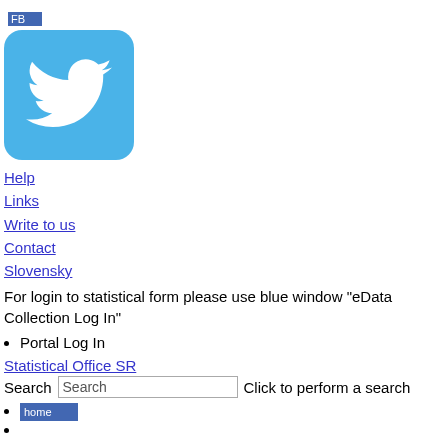[Figure (logo): FB text image link (Facebook icon placeholder)]
[Figure (logo): Twitter bird logo on light blue rounded square background]
Help
Links
Write to us
Contact
Slovensky
For login to statistical form please use blue window "eData Collection Log In"
Portal Log In
Statistical Office SR
Search  [Search input]  Click to perform a search
home